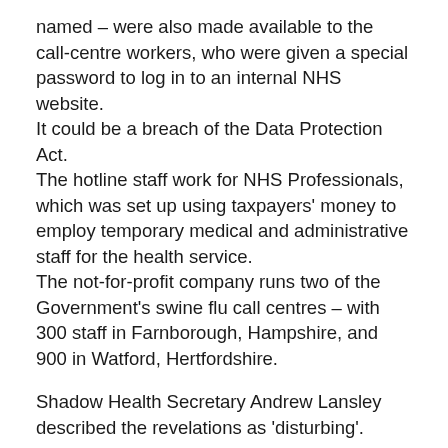named – were also made available to the call-centre workers, who were given a special password to log in to an internal NHS website.
It could be a breach of the Data Protection Act.
The hotline staff work for NHS Professionals, which was set up using taxpayers' money to employ temporary medical and administrative staff for the health service.
The not-for-profit company runs two of the Government's swine flu call centres – with 300 staff in Farnborough, Hampshire, and 900 in Watford, Hertfordshire.
Shadow Health Secretary Andrew Lansley described the revelations as 'disturbing'.
Anne Mitchell, a spokeswoman for Unison, said: 'There's no excuse for such a fundamental breach of personal security. Action needs to be taken as soon as possible to